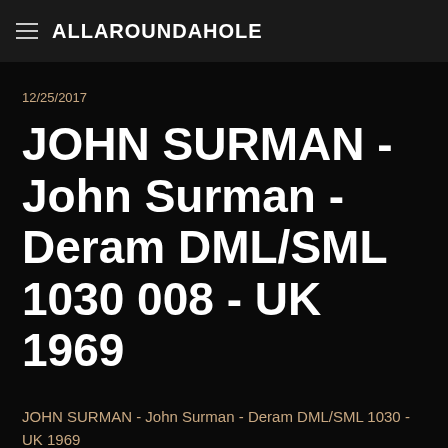ALLAROUNDAHOLE
12/25/2017
JOHN SURMAN - John Surman - Deram DML/SML 1030 008 - UK 1969
JOHN SURMAN - John Surman - Deram DML/SML 1030 - UK 1969